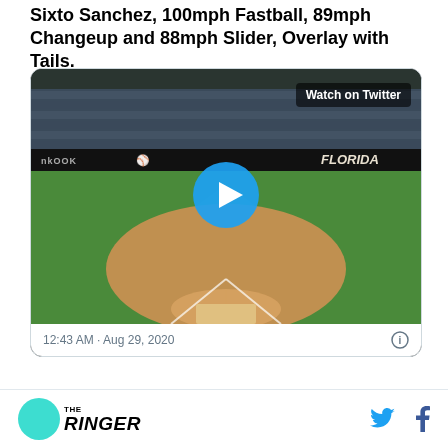Sixto Sanchez, 100mph Fastball, 89mph Changeup and 88mph Slider, Overlay with Tails.
[Figure (screenshot): Embedded Twitter video player showing a baseball pitcher mid-delivery with a batter and catcher at home plate. Shows 'Watch on Twitter' overlay and a large play button. Timestamp: 12:43 AM · Aug 29, 2020]
[Figure (logo): The Ringer logo (teal circle with wordmark) with Twitter bird and Facebook 'f' social icons on the right]